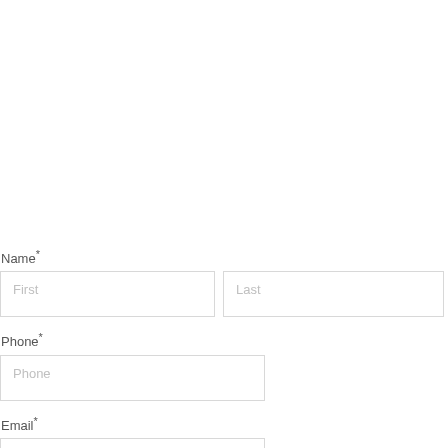Name*
First
Last
Phone*
Phone
Email*
Email